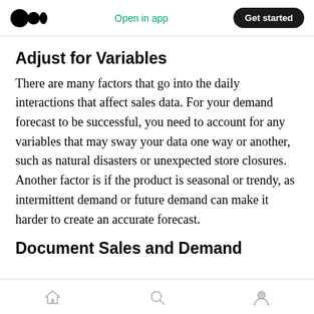Open in app | Get started
Adjust for Variables
There are many factors that go into the daily interactions that affect sales data. For your demand forecast to be successful, you need to account for any variables that may sway your data one way or another, such as natural disasters or unexpected store closures. Another factor is if the product is seasonal or trendy, as intermittent demand or future demand can make it harder to create an accurate forecast.
Document Sales and Demand Trends
Home | Search | Profile